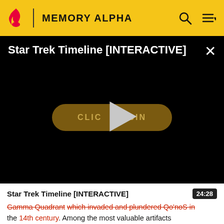MEMORY ALPHA
[Figure (screenshot): Video player showing 'Star Trek Timeline [INTERACTIVE]' with a black background, a 'CLICK TO BEGIN' button, and a play triangle overlay. A close (X) button is in the top right.]
Star Trek Timeline [INTERACTIVE]  24:28
Gamma Quadrant which invaded and plundered Qo'noS in the 14th century. Among the most valuable artifacts stolen by the Hur'q was the Sword of Kahless, which was only recovered a thousand years later, in 2372. (DS9: "The